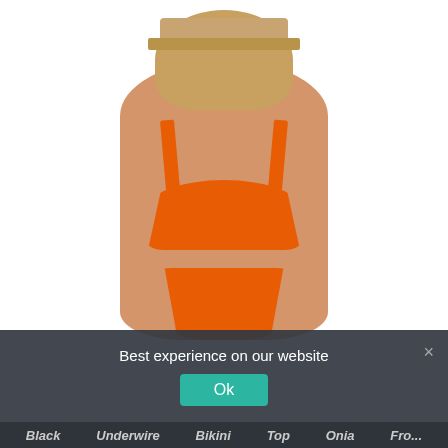[Figure (photo): A woman wearing an orange bikini (underwire top and high-cut bottoms) and a tan visor hat, photographed against a white background. A dark overlay notification bar appears at the bottom of the image.]
Best experience on our website
Ok
×
Black  Underwire  Bikini  Top  Onia  Fro...